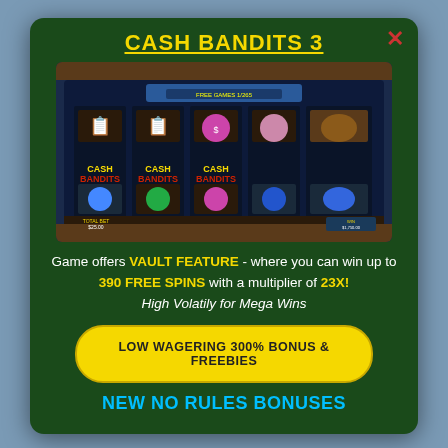CASH BANDITS 3
[Figure (screenshot): Screenshot of Cash Bandits 3 slot game showing reels with symbols including cash bags, numbered symbols, and colorful balls. Shows FREE GAMES 1/265 displayed at top. Bottom shows Total Bet $25.00 and balance.]
Game offers VAULT FEATURE - where you can win up to 390 FREE SPINS with a multiplier of 23X! High Volatily for Mega Wins
LOW WAGERING 300% BONUS & FREEBIES
NEW NO RULES BONUSES